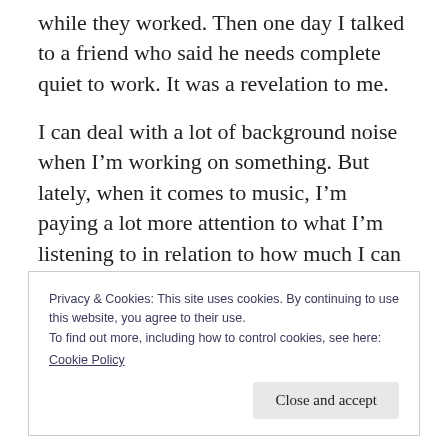while they worked. Then one day I talked to a friend who said he needs complete quiet to work. It was a revelation to me.
I can deal with a lot of background noise when I'm working on something. But lately, when it comes to music, I'm paying a lot more attention to what I'm listening to in relation to how much I can get done. The results have been interesting.
Privacy & Cookies: This site uses cookies. By continuing to use this website, you agree to their use.
To find out more, including how to control cookies, see here:
Cookie Policy
Close and accept